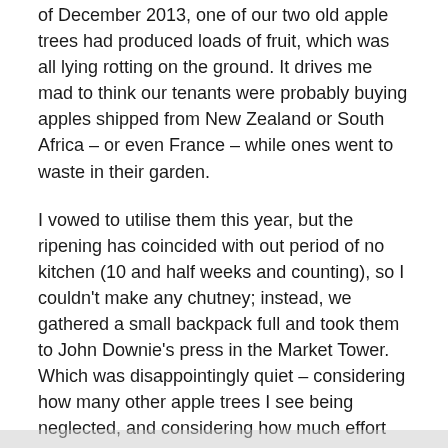of December 2013, one of our two old apple trees had produced loads of fruit, which was all lying rotting on the ground. It drives me mad to think our tenants were probably buying apples shipped from New Zealand or South Africa – or even France – while ones went to waste in their garden.
I vowed to utilise them this year, but the ripening has coincided with out period of no kitchen (10 and half weeks and counting), so I couldn't make any chutney; instead, we gathered a small backpack full and took them to John Downie's press in the Market Tower. Which was disappointingly quiet – considering how many other apple trees I see being neglected, and considering how much effort those running it go to, it should have been thronged. Quite possibly  it wasn't publicised enough.